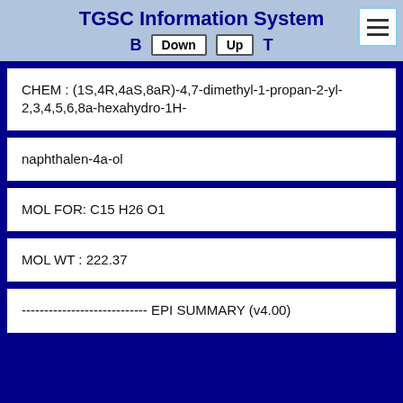TGSC Information System
CHEM : (1S,4R,4aS,8aR)-4,7-dimethyl-1-propan-2-yl-2,3,4,5,6,8a-hexahydro-1H-
naphthalen-4a-ol
MOL FOR: C15 H26 O1
MOL WT : 222.37
---------------------------- EPI SUMMARY (v4.00)